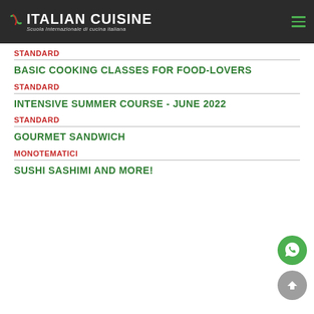ITALIAN CUISINE — Scuola Internazionale di cucina italiana
STANDARD
BASIC COOKING CLASSES FOR FOOD-LOVERS
STANDARD
INTENSIVE SUMMER COURSE - JUNE 2022
STANDARD
GOURMET SANDWICH
MONOTEMATICI
SUSHI SASHIMI AND MORE!